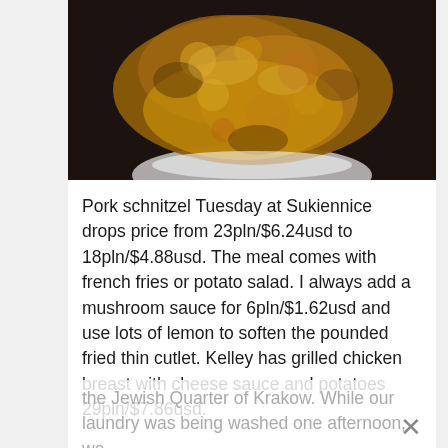[Figure (photo): Overhead photo of breaded pork schnitzel on a white plate against a dark background]
Pork schnitzel Tuesday at Sukiennice drops price from 23pln/$6.24usd to 18pln/$4.88usd. The meal comes with french fries or potato salad. I always add a mushroom sauce for 6pln/$1.62usd and use lots of lemon to soften the pounded fried thin cutlet. Kelley has grilled chicken breast with cheese sauce and potatoes 29pln/$7.86usd.
Kuchnia u Doroty Kazimierz
Kazimierz is the place where loads of people go to drink and dine in what was for centuries the Jewish Quarter of Krakow. While our laundry was being washed one afternoon, we